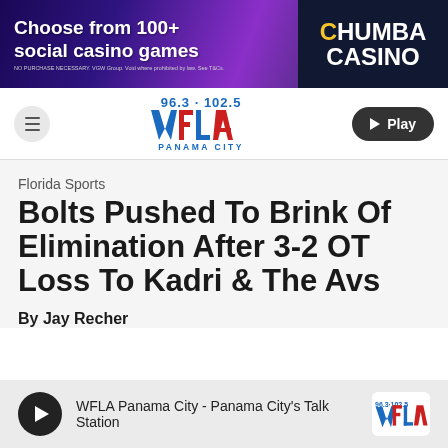[Figure (other): Chumba Casino advertisement banner: 'Choose from 100+ social casino games']
[Figure (logo): WFLA 96.3·102.5 Panama City radio station logo with navigation bar and Play button]
Florida Sports
Bolts Pushed To Brink Of Elimination After 3-2 OT Loss To Kadri & The Avs
By Jay Recher
WFLA Panama City - Panama City's Talk Station